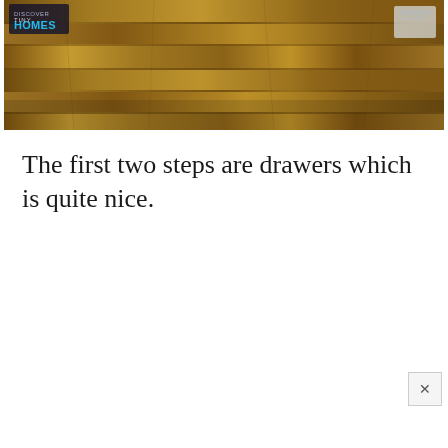[Figure (photo): Photo of wooden flooring/interior with a logo overlay in the top-left corner reading 'TINY HOMES' and a light-colored object in the upper right area]
The first two steps are drawers which is quite nice.